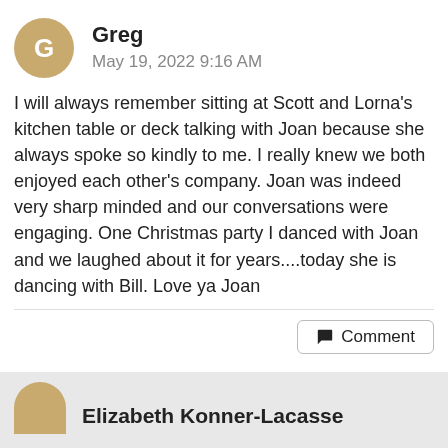Greg
May 19, 2022 9:16 AM
I will always remember sitting at Scott and Lorna's kitchen table or deck talking with Joan because she always spoke so kindly to me. I really knew we both enjoyed each other's company. Joan was indeed very sharp minded and our conversations were engaging. One Christmas party I danced with Joan and we laughed about it for years....today she is dancing with Bill. Love ya Joan
Comment
Elizabeth Konner-Lacasse
Share a memory
Send Flowers
Plant a Tree